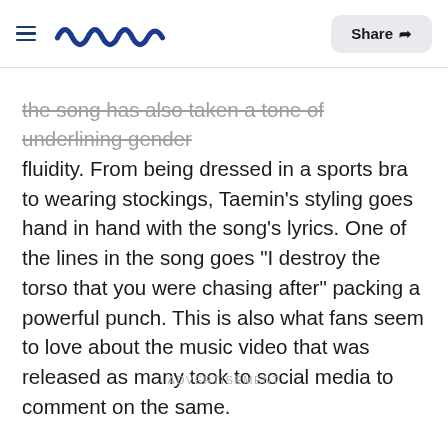Meaww | Share
the song has also taken a tone of underlining gender fluidity. From being dressed in a sports bra to wearing stockings, Taemin's styling goes hand in hand with the song's lyrics. One of the lines in the song goes "I destroy the torso that you were chasing after" packing a powerful punch. This is also what fans seem to love about the music video that was released as many took to social media to comment on the same.
ADVERTISEMENT